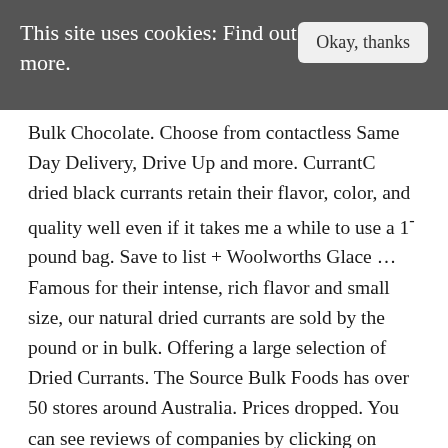This site uses cookies: Find out more.
Bulk Chocolate. Choose from contactless Same Day Delivery, Drive Up and more. CurrantC dried black currants retain their flavor, color, and quality well even if it takes me a while to use a 1-pound bag. Save to list + Woolworths Glace ... Famous for their intense, rich flavor and small size, our natural dried currants are sold by the pound or in bulk. Offering a large selection of Dried Currants. The Source Bulk Foods has over 50 stores around Australia. Prices dropped. You can see reviews of companies by clicking on them. Here, we sell top-quality nursery products—